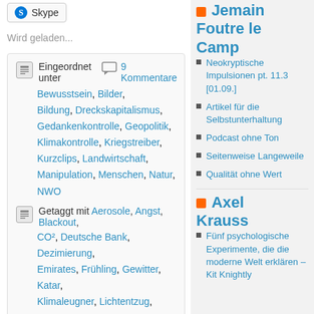Skype
Wird geladen...
Eingeordnet unter  9 Kommentare Bewusstsein, Bilder, Bildung, Dreckskapitalismus, Gedankenkontrolle, Geopolitik, Klimakontrolle, Kriegstreiber, Kurzclips, Landwirtschaft, Manipulation, Menschen, Natur, NWO
Getaggt mit Aerosole, Angst, Blackout, CO², Deutsche Bank, Dezimierung, Emirates, Frühling, Gewitter, Katar, Klimaleugner, Lichtentzug, Panem et Circenses, Sigmar Gabriel, sonnenlicht, Terrorismus, Vitamin D3, Wetter
Jemain Foutre le Camp
Neokryptische Impulsionen pt. 11.3 [01.09.]
Artikel für die Selbstunterhaltung
Podcast ohne Ton
Seitenweise Langeweile
Qualität ohne Wert
Axel Krauss
Fünf psychologische Experimente, die die moderne Welt erklären – Kit Knightly